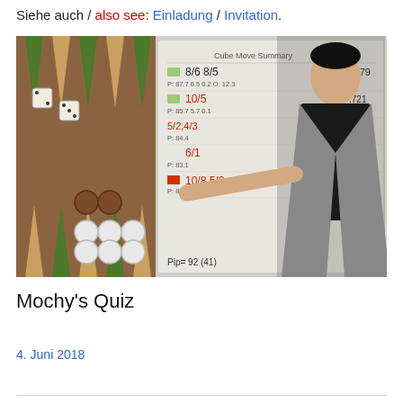Siehe auch / also see: Einladung / Invitation.
[Figure (photo): A man in a grey blazer standing in front of a projected backgammon analysis screen, pointing at the display which shows move options like 8/6 8/5, 10/5, 6/1, 10/8 5/2 with various statistics and pip counts.]
Mochy's Quiz
4. Juni 2018